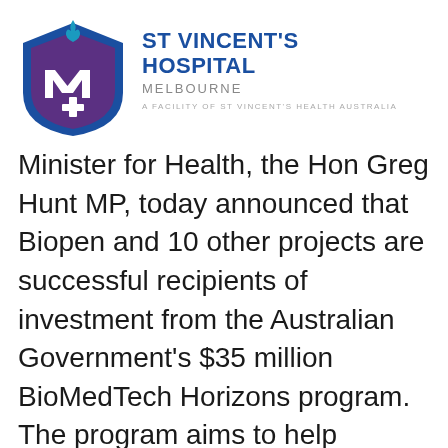[Figure (logo): St Vincent's Hospital Melbourne logo — shield shape in blue and purple with stylized M and cross, flame at top, text 'ST VINCENT'S HOSPITAL MELBOURNE' and 'A FACILITY OF ST VINCENT'S HEALTH AUSTRALIA']
Minister for Health, the Hon Greg Hunt MP, today announced that Biopen and 10 other projects are successful recipients of investment from the Australian Government's $35 million BioMedTech Horizons program. The program aims to help Australia move more cutting edge-ideas and breakthrough discoveries towards proof-of-concept and commercialisation, and stimulate collaboration across disciplines